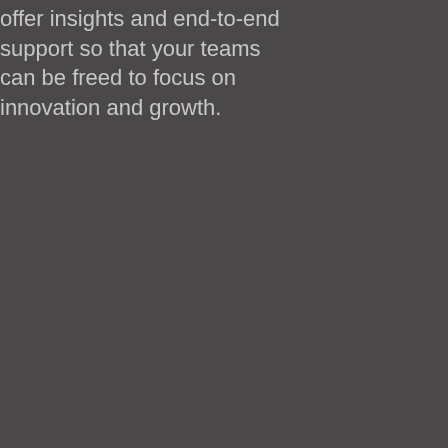offer insights and end-to-end support so that your teams can be freed to focus on innovation and growth.